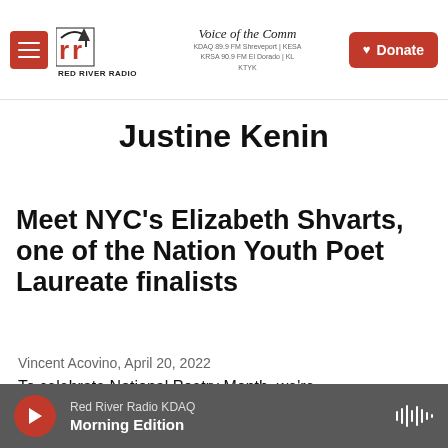Red River Radio — Voice of the Community | KDAQ 89.9 FM Shreveport | KESA | KRSA 90.9 FM El Dorado | KL... | KTYK | Donate
Justine Kenin
Meet NYC's Elizabeth Shvarts, one of the Nation Youth Poet Laureate finalists
Vincent Acovino, April 20, 2022
To celebrate National Poetry Month, we're
Red River Radio KDAQ Morning Edition